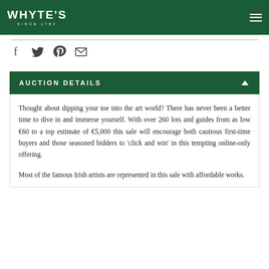WHYTE'S SINCE 1783
[Figure (logo): Whyte's auction house logo with text WHYTE'S SINCE 1783 on dark green background]
AUCTION DETAILS
Thought about dipping your toe into the art world? There has never been a better time to dive in and immerse yourself. With over 260 lots and guides from as low €60 to a top estimate of €5,000 this sale will encourage both cautious first-time buyers and those seasoned bidders to 'click and win' in this tempting online-only offering.
Most of the famous Irish artists are represented in this sale with affordable works.